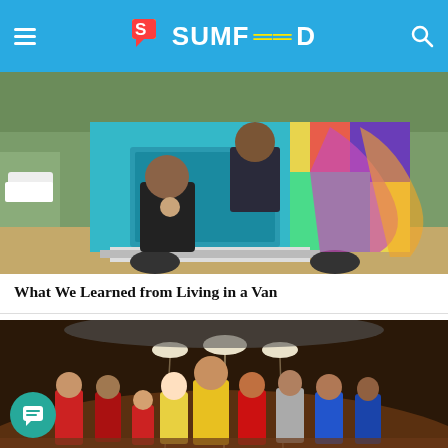SUMFEED
[Figure (photo): A man holding a baby and a woman sitting in the back of a colorful painted van/truck, outdoors on a dirt area with trees in background.]
What We Learned from Living in a Van
[Figure (photo): A group of people in Star Trek costumes (red, yellow, blue uniforms) standing in what appears to be a spaceship set with dramatic lighting.]